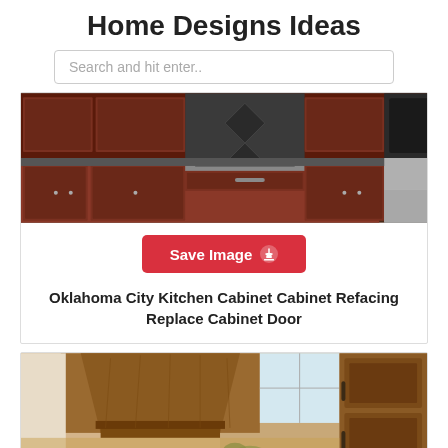Home Designs Ideas
Search and hit enter..
[Figure (photo): Kitchen with dark wood cabinets, granite countertop, stainless steel sink and refrigerator]
Save Image
Oklahoma City Kitchen Cabinet Cabinet Refacing Replace Cabinet Door
[Figure (photo): Kitchen with warm wood range hood and wooden cabinet doors]